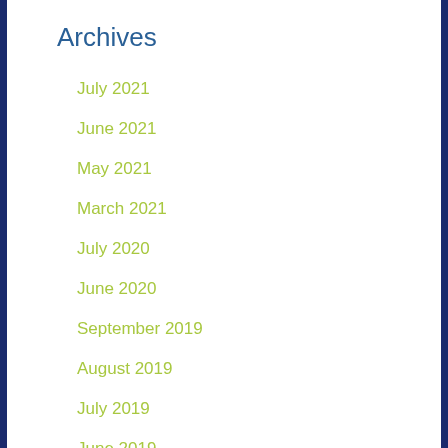Archives
July 2021
June 2021
May 2021
March 2021
July 2020
June 2020
September 2019
August 2019
July 2019
June 2019
May 2019